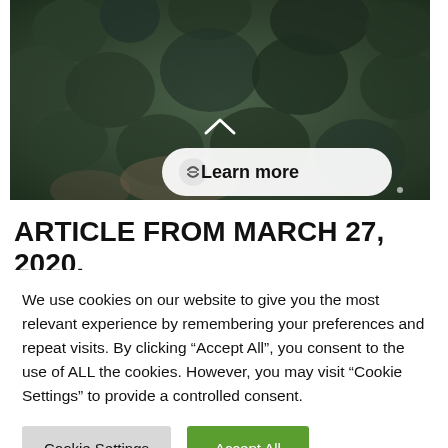[Figure (photo): Aerial view of dark green treetops or shrubs viewed from above, with a small 'Learn more' button overlaid in center and a chevron/arrow icon above it]
ARTICLE FROM MARCH 27, 2020,
We use cookies on our website to give you the most relevant experience by remembering your preferences and repeat visits. By clicking “Accept All”, you consent to the use of ALL the cookies. However, you may visit “Cookie Settings” to provide a controlled consent.
Cookie Settings | Accept All